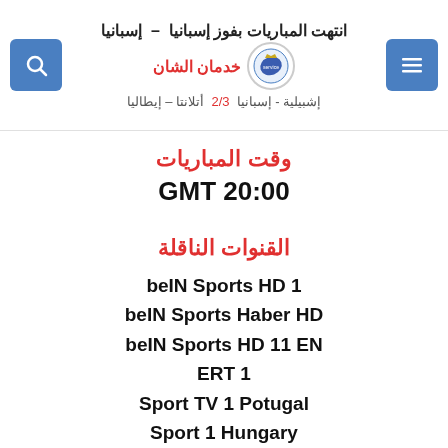انتهت المباريات بفوز إسبانيا — إشبيلية - إسبانيا 2/3 أتلانتا - إيطاليا | خدمان الشان | service-sat
وقت المباريات
GMT 20:00
القنوات الناقلة
beIN Sports HD 1
beIN Sports Haber HD
beIN Sports HD 11 EN
ERT 1
Sport TV 1 Potugal
Sport 1 Hungary
Sky Sport Uno
Match Football 1
RTL Deutschland
SIC